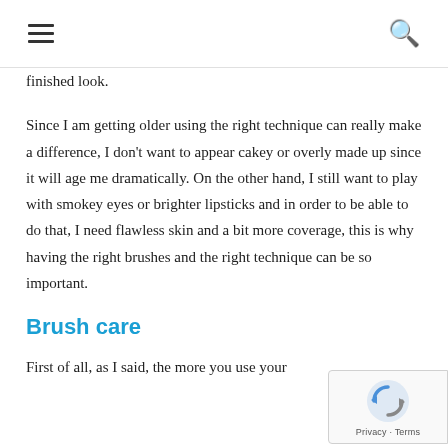hamburger menu and search icon
finished look.
Since I am getting older using the right technique can really make a difference, I don't want to appear cakey or overly made up since it will age me dramatically. On the other hand, I still want to play with smokey eyes or brighter lipsticks and in order to be able to do that, I need flawless skin and a bit more coverage, this is why having the right brushes and the right technique can be so important.
Brush care
First of all, as I said, the more you use your